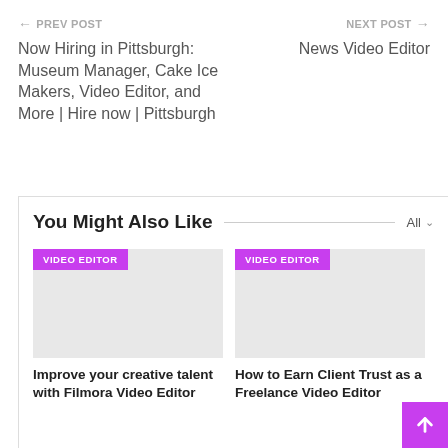← PREV POST
Now Hiring in Pittsburgh: Museum Manager, Cake Ice Makers, Video Editor, and More | Hire now | Pittsburgh
NEXT POST →
News Video Editor
You Might Also Like
[Figure (photo): Card image placeholder with purple VIDEO EDITOR tag]
Improve your creative talent with Filmora Video Editor
[Figure (photo): Card image placeholder with purple VIDEO EDITOR tag]
How to Earn Client Trust as a Freelance Video Editor